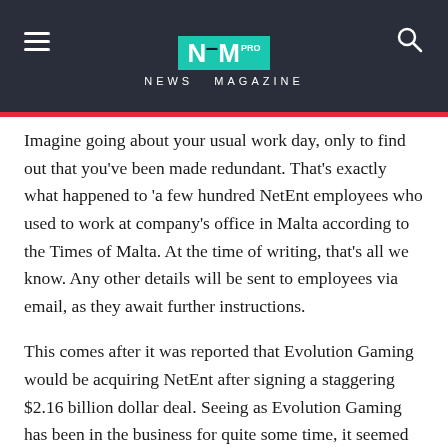NEWS MAGAZINE
Imagine going about your usual work day, only to find out that you've been made redundant. That's exactly what happened to 'a few hundred NetEnt employees who used to work at company's office in Malta according to the Times of Malta. At the time of writing, that's all we know. Any other details will be sent to employees via email, as they await further instructions.
This comes after it was reported that Evolution Gaming would be acquiring NetEnt after signing a staggering $2.16 billion dollar deal. Seeing as Evolution Gaming has been in the business for quite some time, it seemed as if the company didn't need the NeEnt Live series anymore, even though the games are still available on a number of online casino platforms.
The redundancy may come across as unexpected to some, especially since NetEnt had issued a statement that the company plans on further expanding the live studio in Qormi, Malta. In fact,